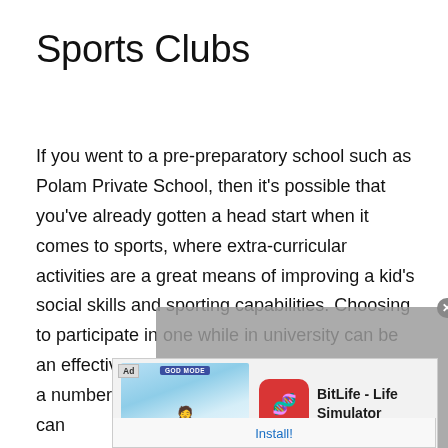Sports Clubs
If you went to a pre-preparatory school such as Polam Private School, then it's possible that you've already gotten a head start when it comes to sports, where extra-curricular activities are a great means of improving a kid's social skills and sporting capabilities. Choosing to participate in one while in university can be an effective way to liven up your CV. There are a number of sports clubs and societies that you can
[Figure (screenshot): Video player overlay showing 'No compatible source was found for this media.' message with a close button and play arrow, partially obscuring the text below]
[Figure (screenshot): Advertisement banner for BitLife - Life Simulator app showing a cartoon character and the app icon with an Install! link at the bottom]